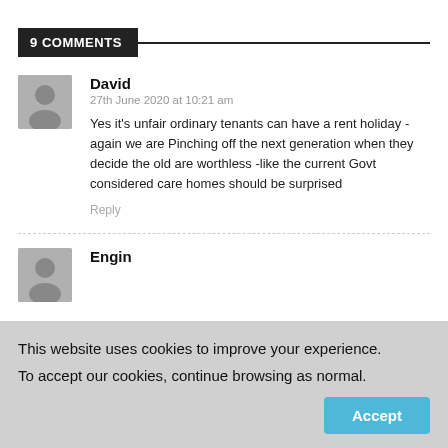9 COMMENTS
David
27th June 2020 at 10:21 am
Yes it's unfair ordinary tenants can have a rent holiday - again we are Pinching off the next generation when they decide the old are worthless -like the current Govt considered care homes should be surprised
Reply
Engin
This website uses cookies to improve your experience.
To accept our cookies, continue browsing as normal.
Accept